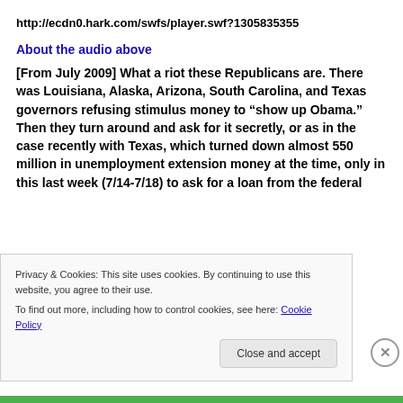http://ecdn0.hark.com/swfs/player.swf?1305835355
About the audio above
[From July 2009] What a riot these Republicans are. There was Louisiana, Alaska, Arizona, South Carolina, and Texas governors refusing stimulus money to “show up Obama.” Then they turn around and ask for it secretly, or as in the case recently with Texas, which turned down almost 550 million in unemployment extension money at the time, only in this last week (7/14-7/18) to ask for a loan from the federal
Privacy & Cookies: This site uses cookies. By continuing to use this website, you agree to their use.
To find out more, including how to control cookies, see here: Cookie Policy
Close and accept